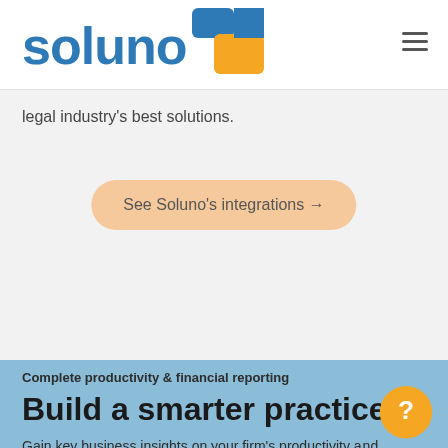[Figure (logo): Soluno logo with blue text 'soluno' and an orange/blue staircase icon]
legal industry's best solutions.
See Soluno's integrations →
Complete productivity & financial reporting
Build a smarter practice.
Gain key business insights on your firm's productivity and profitability with comprehensive financial dashboards and